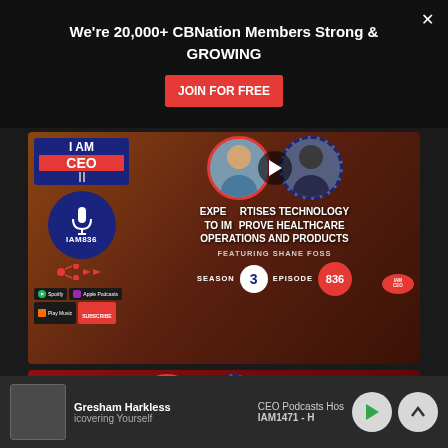We're 20,000+ CBNation Members Strong & GROWING
JOIN FOR FREE
[Figure (screenshot): I AM CEO podcast thumbnail for episode IAM836 featuring Shane Foss - EXPERTISES TECHNOLOGY TO IMPROVE HEALTHCARE OPERATIONS AND PRODUCTS, Season 3 Episode 836]
[Figure (screenshot): I AM CEO podcast thumbnail partial view showing logo with headphones]
Gresham Harkless
CEO Podcasts Hos
icovering Yourself
IAM1471 - H